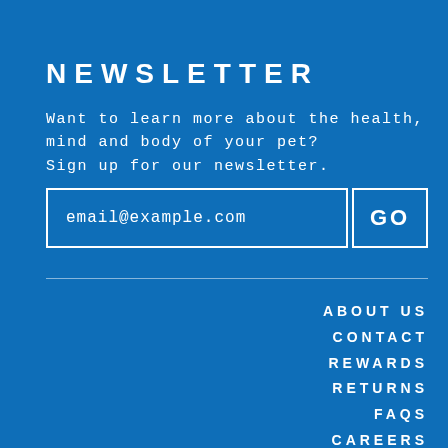NEWSLETTER
Want to learn more about the health, mind and body of your pet?
Sign up for our newsletter.
email@example.com  GO
ABOUT US
CONTACT
REWARDS
RETURNS
FAQS
CAREERS
TERMS
PRIVACY
ACCESSIBILITY